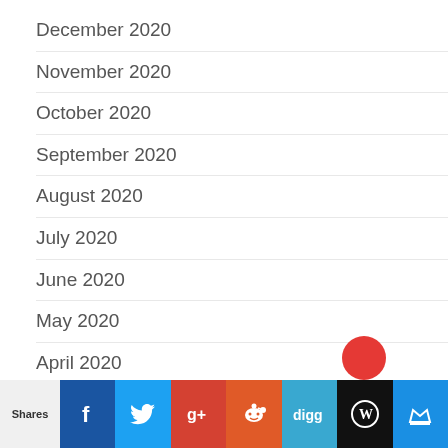December 2020
November 2020
October 2020
September 2020
August 2020
July 2020
June 2020
May 2020
April 2020
March 2020
February 2020
Shares | Facebook | Twitter | Google+ | Reddit | Digg | WordPress | Crown